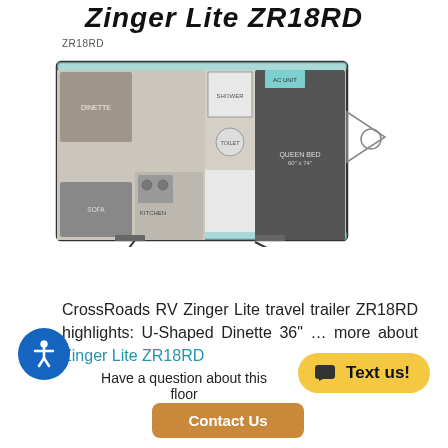Zinger Lite ZR18RD
ZR18RD
[Figure (illustration): Floor plan diagram of ZR18RD travel trailer showing U-shaped dinette, kitchen, bathroom, and rear bedroom layout]
CrossRoads RV Zinger Lite travel trailer ZR18RD highlights: U-Shaped Dinette 36" … more about Zinger Lite ZR18RD
Have a question about this floor
Contact Us